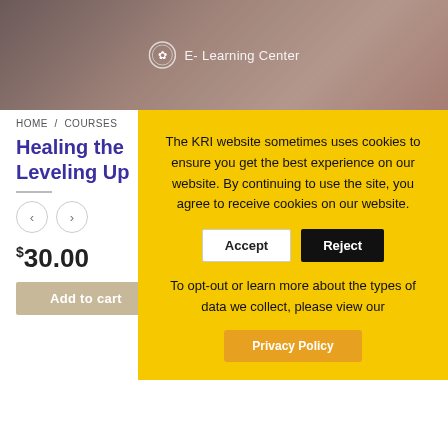[Figure (screenshot): Hero banner with blurred background image of a person, dark overlay, circular icon and 'E- Learning Center' text in white]
HOME / COURSES
Healing the
Leveling Up
$30.00
Add to cart
The KRI website sometimes uses cookies to ensure you get the best experience on our website. By continuing to use the site, you agree to receive cookies on our website.
Accept
Reject
To opt-out or learn more about the types of data we collect, please view our
Privacy Policy